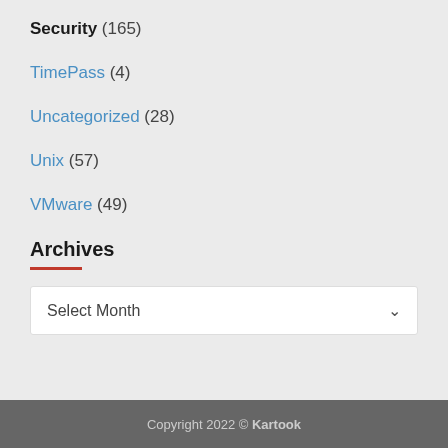Security (165)
TimePass (4)
Uncategorized (28)
Unix (57)
VMware (49)
Archives
Select Month
Copyright 2022 © Kartook